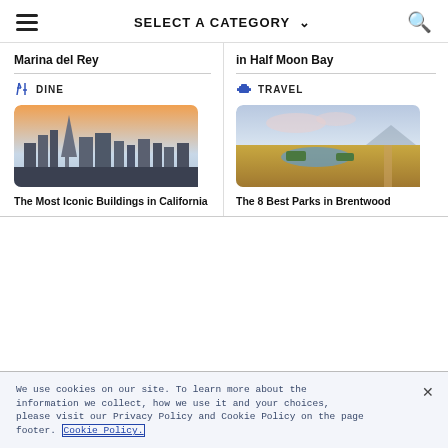SELECT A CATEGORY
Marina del Rey
in Half Moon Bay
DINE
TRAVEL
[Figure (photo): Aerial view of San Francisco skyline at golden hour with skyscrapers including Transamerica Pyramid]
[Figure (photo): Aerial view of wetlands and open fields in Brentwood, California with a small lake and dirt road]
The Most Iconic Buildings in California
The 8 Best Parks in Brentwood
We use cookies on our site. To learn more about the information we collect, how we use it and your choices, please visit our Privacy Policy and Cookie Policy on the page footer. Cookie Policy.